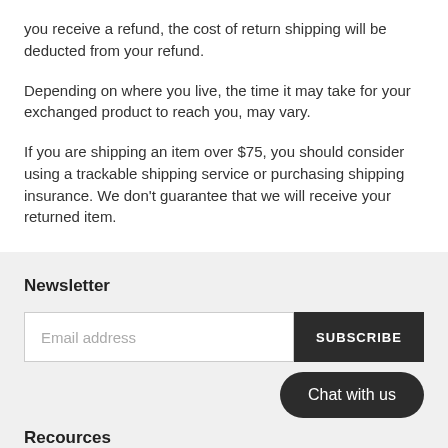you receive a refund, the cost of return shipping will be deducted from your refund.
Depending on where you live, the time it may take for your exchanged product to reach you, may vary.
If you are shipping an item over $75, you should consider using a trackable shipping service or purchasing shipping insurance. We don't guarantee that we will receive your returned item.
Newsletter
Email address
SUBSCRIBE
Chat with us
Recources